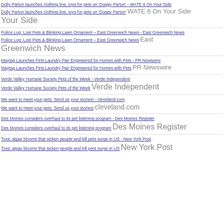Dolly Parton launches clothing line, toys for pets on 'Doggy Parton' - WATE 6 On Your Side
Dolly Parton launches clothing line, toys for pets on 'Doggy Parton'  WATE 6 On Your Side
Police Log: Lost Pets & Blinking Lawn Ornament – East Greenwich News - East Greenwich News
Police Log: Lost Pets & Blinking Lawn Ornament – East Greenwich News  East Greenwich News
Maytag Launches First Laundry Pair Engineered for Homes with Pets - PR Newswire
Maytag Launches First Laundry Pair Engineered for Homes with Pets  PR Newswire
Verde Valley Humane Society Pets of the Week - Verde Independent
Verde Valley Humane Society Pets of the Week  Verde Independent
We want to meet your pets: Send us your stories! - cleveland.com
We want to meet your pets: Send us your stories!  cleveland.com
Des Moines considers overhaul to its pet listening program - Des Moines Register
Des Moines considers overhaul to its pet listening program  Des Moines Register
Toxic algae blooms that sicken people and kill pets surge in US - New York Post
Toxic algae blooms that sicken people and kill pets surge in US  New York Post